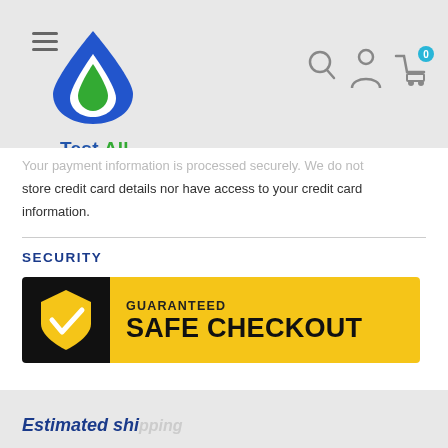[Figure (logo): Test All Water logo: blue water drop shape with green inner drop, text 'Test All Water' in blue/green/blue below]
Your payment information is processed securely. We do not store credit card details nor have access to your credit card information.
SECURITY
[Figure (infographic): Guaranteed Safe Checkout badge: black left panel with gold shield and checkmark, yellow right panel with text 'GUARANTEED SAFE CHECKOUT']
Estimated shipping